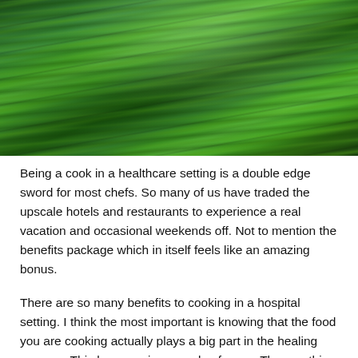[Figure (photo): Close-up photograph of fresh green asparagus stalks bundled together, showing the tips and stems in detail.]
Being a cook in a healthcare setting is a double edge sword for most chefs. So many of us have traded the upscale hotels and restaurants to experience a real vacation and occasional weekends off. Not to mention the benefits package which in itself feels like an amazing bonus.
There are so many benefits to cooking in a hospital setting. I think the most important is knowing that the food you are cooking actually plays a big part in the healing process. This happens in a couple of ways. The one thing